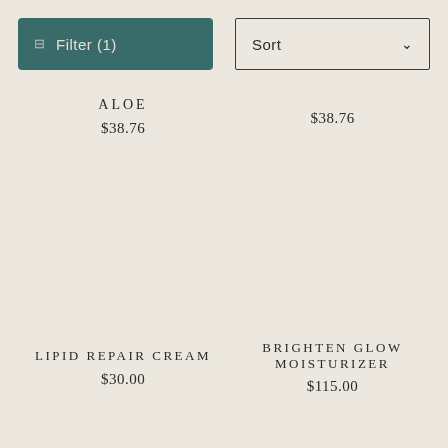Filter (1) | Sort
ALOE
$38.76
$38.76
LIPID REPAIR CREAM
$30.00
BRIGHTEN GLOW MOISTURIZER
$115.00